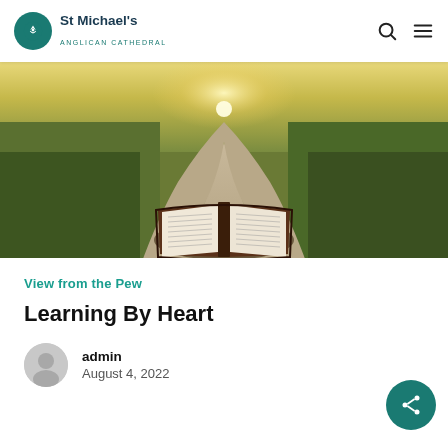St Michael's Anglican Cathedral
[Figure (photo): An open Bible resting on a winding path through green fields, with bright sunlight on the horizon]
View from the Pew
Learning By Heart
admin
August 4, 2022